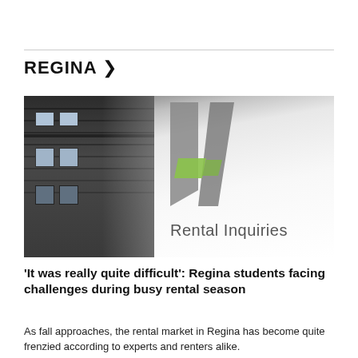REGINA >
[Figure (photo): Photo showing a multi-unit apartment building on the left half and a white 'Rental Inquiries' sign on the right half with a green and grey logo mark.]
'It was really quite difficult': Regina students facing challenges during busy rental season
As fall approaches, the rental market in Regina has become quite frenzied according to experts and renters alike.